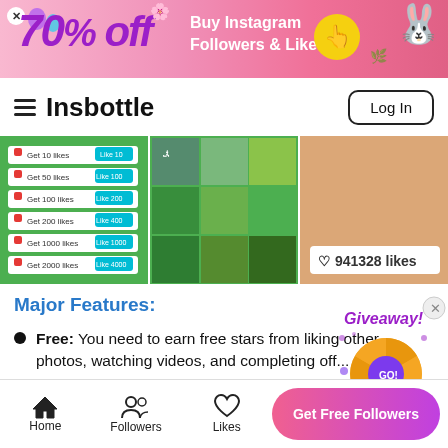[Figure (infographic): Pink promotional ad banner: '70% off Buy Instagram Followers & Likes' with close button, yellow circle with hand icon, and Easter bunny]
Insbottle | Log In
[Figure (screenshot): Three-panel app screenshot strip showing Instagram-like app interface with likes list, photo grid, and 941328 likes counter]
Major Features:
Free: You need to earn free stars from liking other photos, watching videos, and completing off...
Efficient delivery: Fast delivery of likes and effective results.
[Figure (infographic): Giveaway spinner wheel widget with GO button and arrow]
Home | Followers | Likes | Get Free Followers